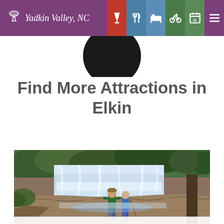Yadkin Valley, NC — navigation bar with wine, food, sleep, bike, calendar, menu icons
Find More Attractions in Elkin
[Figure (photo): Two people standing on rocky riverbank watching a cascading waterfall surrounded by trees and lush greenery]